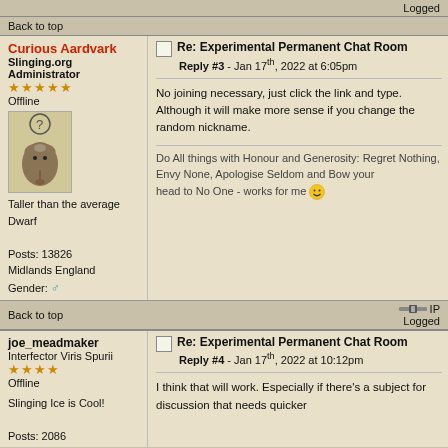Logged
Back to top
Curious Aardvark
Slinging.org Administrator
Offline
Re: Experimental Permanent Chat Room
Reply #3 - Jan 17th, 2022 at 6:05pm
No joining necessary, just click the link and type.
Although it will make more sense if you change the random nickname.
Taller than the average Dwarf
Posts: 13826
Midlands England
Gender: ♂
Do All things with Honour and Generosity: Regret Nothing, Envy None, Apologise Seldom and Bow your head to No One  - works for me
IP
Logged
Back to top
joe_meadmaker
Interfector Viris Spurii
Offline
Re: Experimental Permanent Chat Room
Reply #4 - Jan 17th, 2022 at 10:12pm
I think that will work.  Especially if there's a subject for discussion that needs quicker
Slinging Ice is Cool!
Posts: 2086